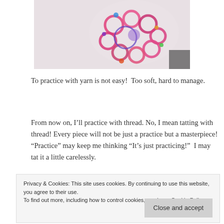[Figure (photo): A colorful tatted lace piece or jewelry made with pink, blue, and purple yarn/thread, photographed against a light background.]
To practice with yarn is not easy!  Too soft, hard to manage.
From now on, I'll practice with thread. No, I mean tatting with thread! Every piece will not be just a practice but a masterpiece! “Practice” may keep me thinking “It’s just practicing!”  I may tat it a little carelessly.
Privacy & Cookies: This site uses cookies. By continuing to use this website, you agree to their use.
To find out more, including how to control cookies, see here: Cookie Policy
Close and accept